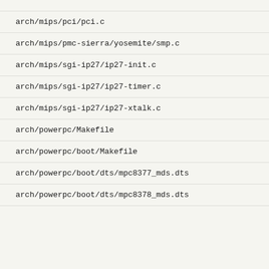arch/mips/pci/pci.c
arch/mips/pmc-sierra/yosemite/smp.c
arch/mips/sgi-ip27/ip27-init.c
arch/mips/sgi-ip27/ip27-timer.c
arch/mips/sgi-ip27/ip27-xtalk.c
arch/powerpc/Makefile
arch/powerpc/boot/Makefile
arch/powerpc/boot/dts/mpc8377_mds.dts
arch/powerpc/boot/dts/mpc8378_mds.dts